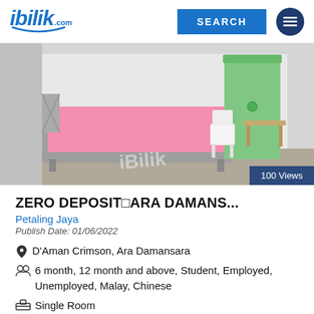ibilik.com | SEARCH
[Figure (photo): Interior of a small single room with a bed covered in pink bedding, a white plastic chair, a small wooden desk/table, and a green fabric wardrobe/closet in the corner. Walls are white. Watermark reads iBilik.]
100 Views
ZERO DEPOSIT□ARA DAMANS...
Petaling Jaya
Publish Date: 01/06/2022
D'Aman Crimson, Ara Damansara
6 month, 12 month and above, Student, Employed, Unemployed, Malay, Chinese
Single Room